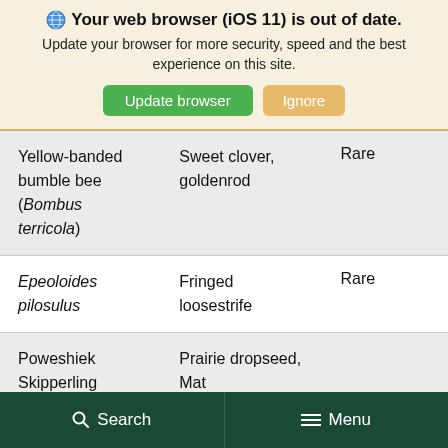Your web browser (iOS 11) is out of date. Update your browser for more security, speed and the best experience on this site.
| Yellow-banded bumble bee (Bombus terricola) | Sweet clover, goldenrod | Rare |
| Epeoloides pilosulus | Fringed loosestrife | Rare |
| Poweshiek Skipperling | Prairie dropseed, Mat |  |
Search   Menu